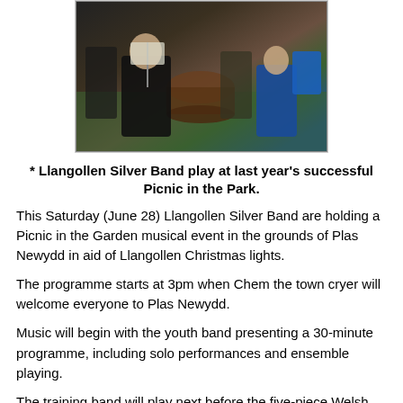[Figure (photo): Musicians performing outdoors, seen from behind, with drums and music stands visible. A youth in a blue hoodie is on the right.]
* Llangollen Silver Band play at last year's successful Picnic in the Park.
This Saturday (June 28) Llangollen Silver Band are holding a Picnic in the Garden musical event in the grounds of Plas Newydd in aid of Llangollen Christmas lights.
The programme starts at 3pm when Chem the town cryer will welcome everyone to Plas Newydd.
Music will begin with the youth band presenting a 30-minute programme, including solo performances and ensemble playing.
The training band will play next before the five-piece Welsh